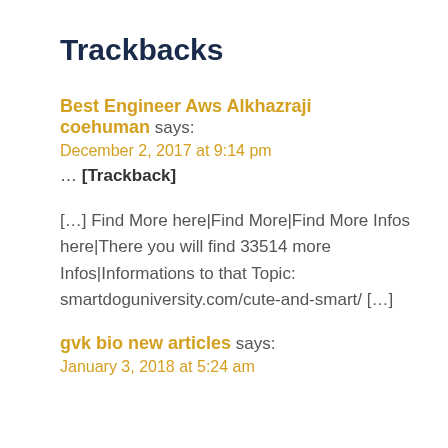Trackbacks
Best Engineer Aws Alkhazraji coehuman says:
December 2, 2017 at 9:14 pm
… [Trackback]
[…] Find More here|Find More|Find More Infos here|There you will find 33514 more Infos|Informations to that Topic: smartdoguniversity.com/cute-and-smart/ […]
gvk bio new articles says:
January 3, 2018 at 5:24 am